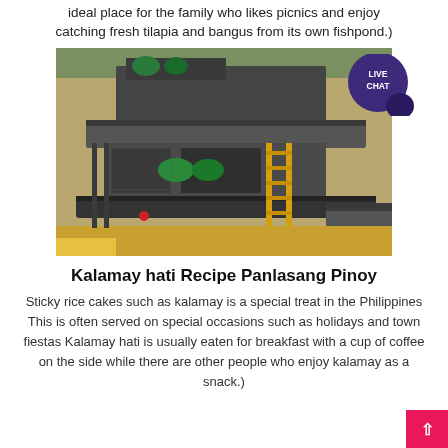ideal place for the family who likes picnics and enjoy catching fresh tilapia and bangus from its own fishpond.)
[Figure (photo): Outdoor mining or quarrying machinery — a large multi-level industrial crushing/screening plant with conveyor belts, a yellow ladder, green motors, and rocky hillside terrain in the background. A 'LIVE CHAT' speech bubble overlay appears in the upper right.]
Kalamay hati Recipe Panlasang Pinoy
Sticky rice cakes such as kalamay is a special treat in the Philippines This is often served on special occasions such as holidays and town fiestas Kalamay hati is usually eaten for breakfast with a cup of coffee on the side while there are other people who enjoy kalamay as a snack.)